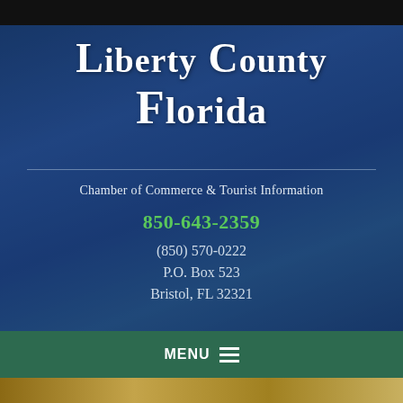Liberty County Florida
Chamber of Commerce & Tourist Information
850-643-2359
(850) 570-0222
P.O. Box 523
Bristol, FL 32321
MENU